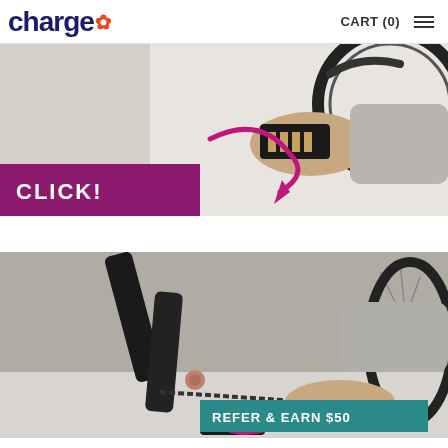charge | CART (0)
[Figure (photo): A hand holding a black bicycle pedal near a bicycle wheel with a CLICK! banner in purple/magenta and a curved arrow graphic]
[Figure (photo): Close-up of a bicycle folding mechanism and chain area, a hand visible, with a REFER & EARN $50 teal banner at the bottom]